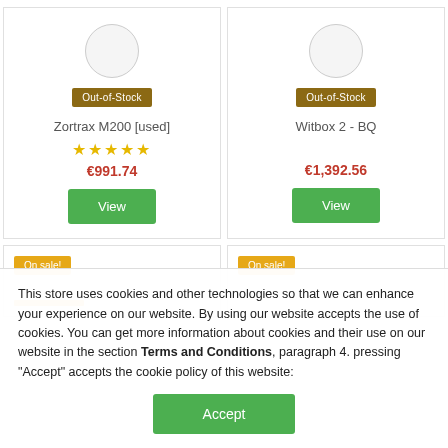[Figure (other): Product card for Zortrax M200 [used] — circular image placeholder, Out-of-Stock badge, 5-star rating, price €991.74, View button]
[Figure (other): Product card for Witbox 2 - BQ — circular image placeholder, Out-of-Stock badge, price €1,392.56, View button]
[Figure (other): Partial product card with On sale! badge and orange line element]
[Figure (other): Partial product card with On sale! badge]
This store uses cookies and other technologies so that we can enhance your experience on our website. By using our website accepts the use of cookies. You can get more information about cookies and their use on our website in the section Terms and Conditions, paragraph 4. pressing "Accept" accepts the cookie policy of this website: